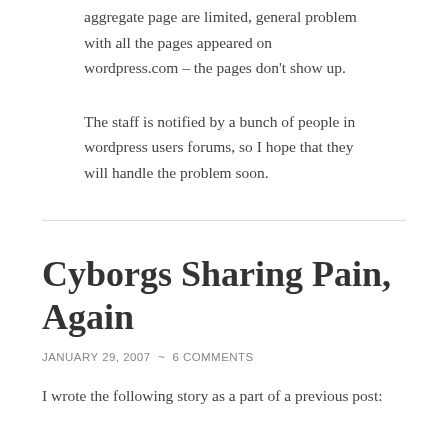aggregate page are limited, general problem with all the pages appeared on wordpress.com – the pages don't show up.
The staff is notified by a bunch of people in wordpress users forums, so I hope that they will handle the problem soon.
Cyborgs Sharing Pain, Again
JANUARY 29, 2007  ~  6 COMMENTS
I wrote the following story as a part of a previous post: